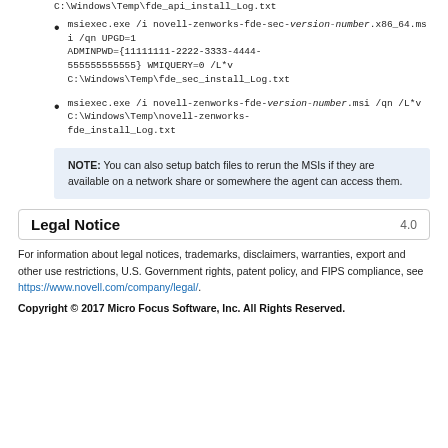C:\Windows\Temp\fde_api_install_Log.txt
msiexec.exe /i novell-zenworks-fde-sec-version-number.x86_64.msi /qn UPGD=1 ADMINPWD={11111111-2222-3333-4444-555555555555} WMIQUERY=0 /L*v C:\Windows\Temp\fde_sec_install_Log.txt
msiexec.exe /i novell-zenworks-fde-version-number.msi /qn /L*v C:\Windows\Temp\novell-zenworks-fde_install_Log.txt
NOTE:  You can also setup batch files to rerun the MSIs if they are available on a network share or somewhere the agent can access them.
Legal Notice  4.0
For information about legal notices, trademarks, disclaimers, warranties, export and other use restrictions, U.S. Government rights, patent policy, and FIPS compliance, see https://www.novell.com/company/legal/.
Copyright © 2017 Micro Focus Software, Inc. All Rights Reserved.